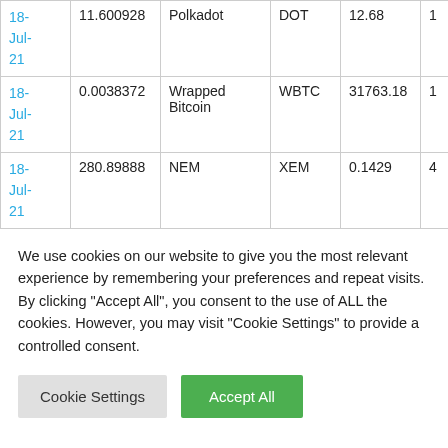| Date | Amount | Name | Symbol | Price |  |
| --- | --- | --- | --- | --- | --- |
| 18-Jul-21 | 11.600928 | Polkadot | DOT | 12.68 | 1 |
| 18-Jul-21 | 0.0038372 | Wrapped Bitcoin | WBTC | 31763.18 | 1 |
| 18-Jul-21 | 280.89888 | NEM | XEM | 0.1429 | 4 |
We use cookies on our website to give you the most relevant experience by remembering your preferences and repeat visits. By clicking "Accept All", you consent to the use of ALL the cookies. However, you may visit "Cookie Settings" to provide a controlled consent.